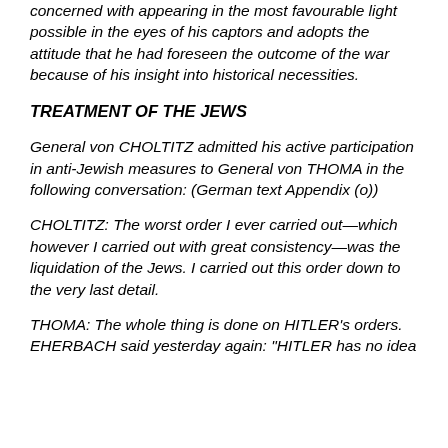concerned with appearing in the most favourable light possible in the eyes of his captors and adopts the attitude that he had foreseen the outcome of the war because of his insight into historical necessities.
TREATMENT OF THE JEWS
General von CHOLTITZ admitted his active participation in anti-Jewish measures to General von THOMA in the following conversation: (German text Appendix (o))
CHOLTITZ: The worst order I ever carried out—which however I carried out with great consistency—was the liquidation of the Jews. I carried out this order down to the very last detail.
THOMA: The whole thing is done on HITLER's orders. EHERBACH said yesterday again: "HITLER has no idea